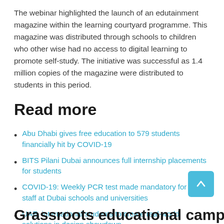The webinar highlighted the launch of an edutainment magazine within the learning courtyard programme. This magazine was distributed through schools to children who other wise had no access to digital learning to promote self-study. The initiative was successful as 1.4 million copies of the magazine were distributed to students in this period.
Read more
Abu Dhabi gives free education to 579 students financially hit by COVID-19
BITS Pilani Dubai announces full internship placements for students
COVID-19: Weekly PCR test made mandatory for all staff at Dubai schools and universities
UAE, international students to create real-world solutions in design showdown
Grassroots educational campaign